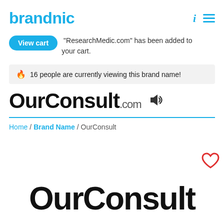brandnic
"ResearchMedic.com" has been added to your cart.
16 people are currently viewing this brand name!
OurConsult.com
Home / Brand Name / OurConsult
OurConsult